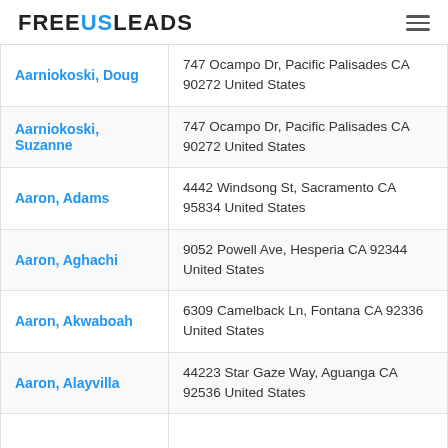FREEUSLEADS
| Name | Address |
| --- | --- |
| Aarniokoski, Doug | 747 Ocampo Dr, Pacific Palisades CA 90272 United States |
| Aarniokoski, Suzanne | 747 Ocampo Dr, Pacific Palisades CA 90272 United States |
| Aaron, Adams | 4442 Windsong St, Sacramento CA 95834 United States |
| Aaron, Aghachi | 9052 Powell Ave, Hesperia CA 92344 United States |
| Aaron, Akwaboah | 6309 Camelback Ln, Fontana CA 92336 United States |
| Aaron, Alayvilla | 44223 Star Gaze Way, Aguanga CA 92536 United States |